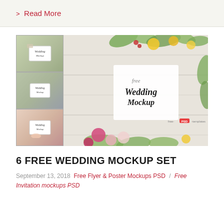> Read More
[Figure (photo): Wedding mockup set promotional image: left column has three small stacked photos of wedding card mockups with floral arrangements; right large photo shows a white wood background with green leaves and colorful flowers framing a script text reading 'free Wedding Mockup', with 'free-PSD-templates' watermark at bottom right.]
6 FREE WEDDING MOCKUP SET
September 13, 2018 Free Flyer & Poster Mockups PSD / Free Invitation mockups PSD